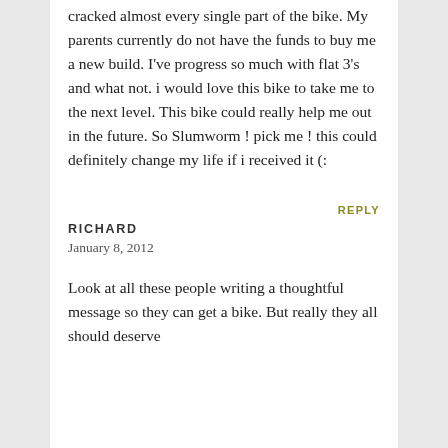cracked almost every single part of the bike. My parents currently do not have the funds to buy me a new build. I've progress so much with flat 3's and what not. i would love this bike to take me to the next level. This bike could really help me out in the future. So Slumworm ! pick me ! this could definitely change my life if i received it (:
REPLY
RICHARD
January 8, 2012
Look at all these people writing a thoughtful message so they can get a bike. But really they all should deserve